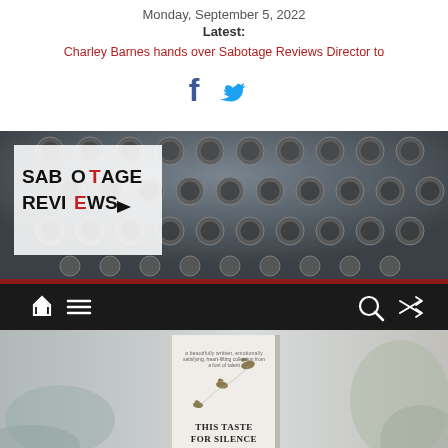Monday, September 5, 2022
Latest:
Charley Barnes hands over Sabotage Reviews Director to
[Figure (logo): Facebook and Twitter social icons]
[Figure (photo): Sabotage Reviews website header with typewriter keyboard background and logo overlay]
[Figure (screenshot): Dark navigation bar with home icon, hamburger menu, search icon, and shuffle icon]
[Figure (photo): Book cover photo for 'This Taste for Silence' with birds on string, shown with blurred bird/plant background]